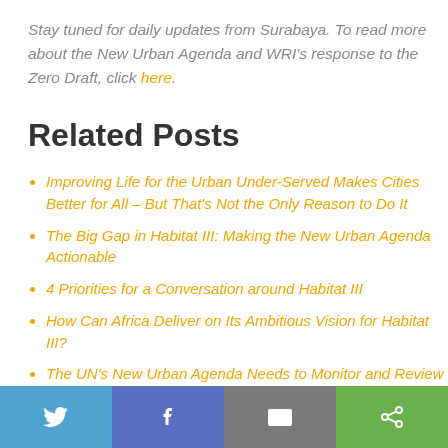Stay tuned for daily updates from Surabaya. To read more about the New Urban Agenda and WRI's response to the Zero Draft, click here.
Related Posts
Improving Life for the Urban Under-Served Makes Cities Better for All – But That's Not the Only Reason to Do It
The Big Gap in Habitat III: Making the New Urban Agenda Actionable
4 Priorities for a Conversation around Habitat III
How Can Africa Deliver on Its Ambitious Vision for Habitat III?
The UN's New Urban Agenda Needs to Monitor and Review Cities' Progress